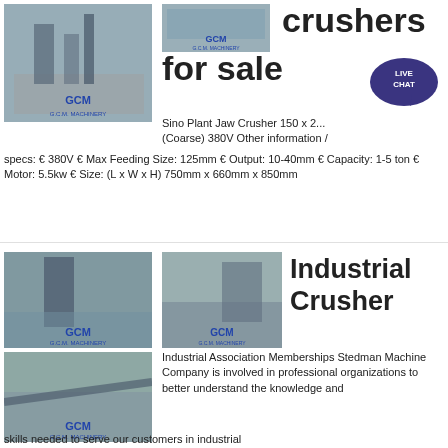[Figure (photo): GCM machinery facility interior photo with industrial equipment]
[Figure (photo): GCM machinery small top-right photo]
crushers for sale
Sino Plant Jaw Crusher 150 x 2... (Coarse) 380V Other information / specs: € 380V € Max Feeding Size: 125mm € Output: 10-40mm € Capacity: 1-5 ton € Motor: 5.5kw € Size: (L x W x H) 750mm x 660mm x 850mm
[Figure (photo): GCM industrial crusher machinery top-left]
[Figure (photo): GCM industrial crusher machinery top-right]
[Figure (photo): GCM industrial crusher bottom-left]
Industrial Crusher
Industrial Association Memberships Stedman Machine Company is involved in professional organizations to better understand the knowledge and skills needed to serve our customers in industrial